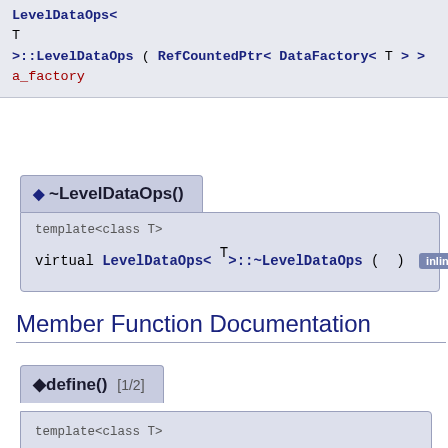LevelDataOps<
T
>::LevelDataOps ( RefCountedPtr< DataFactory< T > >  a_factory...
◆ ~LevelDataOps()
template<class T>
virtual LevelDataOps< T >::~LevelDataOps ( )  [inline] [virtual]
Member Function Documentation
◆ define() [1/2]
template<class T>
virtual void
LevelDataOps<